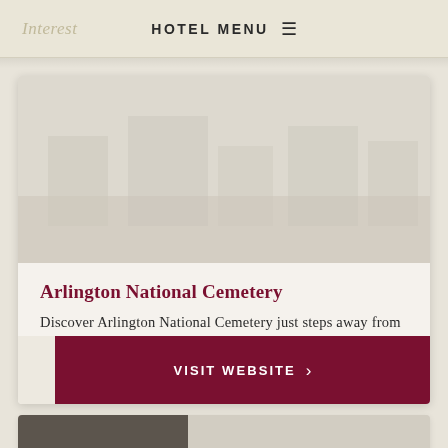Interest   HOTEL MENU ≡
[Figure (photo): Large image area of Arlington National Cemetery, muted/faded tones]
Arlington National Cemetery
Discover Arlington National Cemetery just steps away from the Potomac River.
VISIT WEBSITE >
[Figure (photo): Partial second card with dark image area at bottom of page]